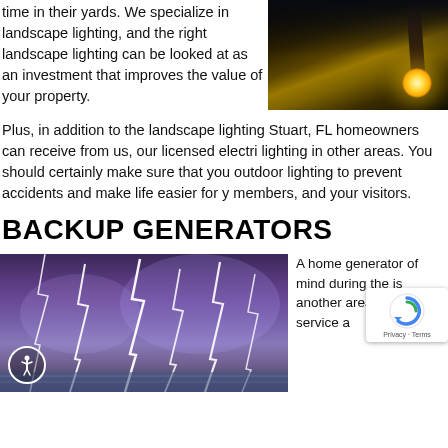time in their yards. We specialize in landscape lighting, and the right landscape lighting can be looked at as an investment that improves the value of your property.
[Figure (photo): Nighttime landscape lighting photo showing a palm tree and warm light glow]
Plus, in addition to the landscape lighting Stuart, FL homeowners can receive from us, our licensed electri lighting in other areas. You should certainly make sure that you outdoor lighting to prevent accidents and make life easier for y members, and your visitors.
BACKUP GENERATORS
[Figure (photo): Dramatic lightning storm over water with multiple lightning bolts striking]
A home generator of mind during the is another area of and our service a